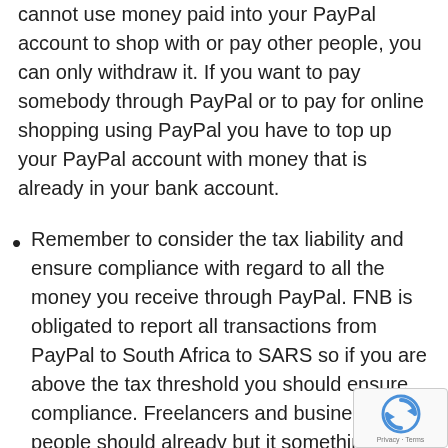cannot use money paid into your PayPal account to shop with or pay other people, you can only withdraw it. If you want to pay somebody through PayPal or to pay for online shopping using PayPal you have to top up your PayPal account with money that is already in your bank account.
Remember to consider the tax liability and ensure compliance with regard to all the money you receive through PayPal. FNB is obligated to report all transactions from PayPal to South Africa to SARS so if you are above the tax threshold you should ensure compliance. Freelancers and business people should already but it something that is easy to forget when to global transacting.